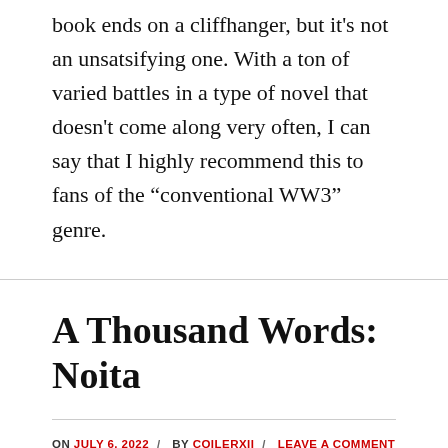book ends on a cliffhanger, but it's not an unsatsifying one. With a ton of varied battles in a type of novel that doesn't come along very often, I can say that I highly recommend this to fans of the “conventional WW3” genre.
A Thousand Words: Noita
ON JULY 6, 2022 / BY COILERXII / LEAVE A COMMENT
Noita